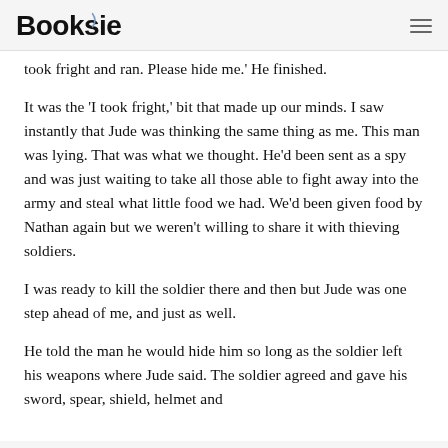Booksie
took fright and ran. Please hide me.' He finished.
It was the 'I took fright,' bit that made up our minds. I saw instantly that Jude was thinking the same thing as me. This man was lying. That was what we thought. He'd been sent as a spy and was just waiting to take all those able to fight away into the army and steal what little food we had. We'd been given food by Nathan again but we weren't willing to share it with thieving soldiers.
I was ready to kill the soldier there and then but Jude was one step ahead of me, and just as well.
He told the man he would hide him so long as the soldier left his weapons where Jude said. The soldier agreed and gave his sword, spear, shield, helmet and